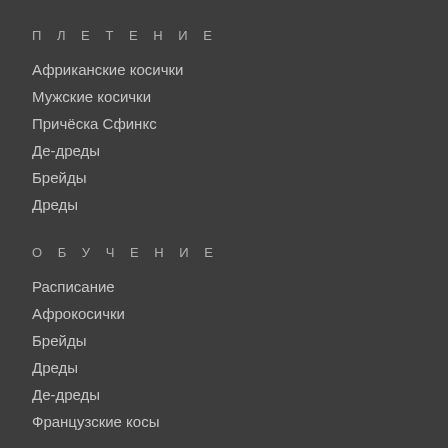П Л Е Т Е Н И Е
Африканские косички
Мужские косички
Причёска Сфинкс
Де-дреды
Брейды
Дреды
О Б У Ч Е Н И Е
Расписание
Афрокосички
Брейды
Дреды
Де-дреды
Французские косы